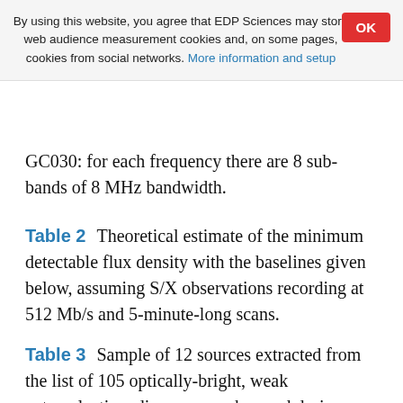By using this website, you agree that EDP Sciences may store web audience measurement cookies and, on some pages, cookies from social networks. More information and setup
GC030: for each frequency there are 8 sub-bands of 8 MHz bandwidth.
Table 2   Theoretical estimate of the minimum detectable flux density with the baselines given below, assuming S/X observations recording at 512 Mb/s and 5-minute-long scans.
Table 3   Sample of 12 sources extracted from the list of 105 optically-bright, weak extragalactic radio sources, observed during GC030. The complete list is available at the CDS.